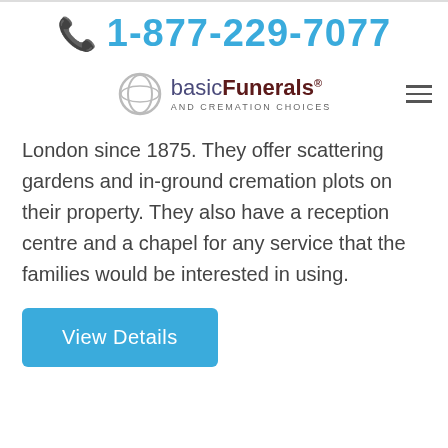1-877-229-7077
[Figure (logo): basicFunerals AND CREMATION CHOICES logo with circular ring icon]
London since 1875. They offer scattering gardens and in-ground cremation plots on their property. They also have a reception centre and a chapel for any service that the families would be interested in using.
View Details